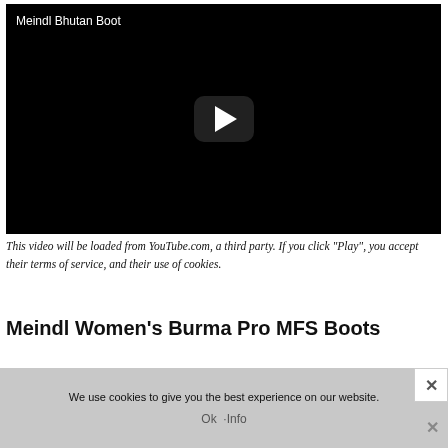[Figure (screenshot): Black video player thumbnail with title 'Meindl Bhutan Boot' in white text at top-left and a YouTube-style play button (white triangle in dark rounded rectangle) centered in the frame.]
This video will be loaded from YouTube.com, a third party. If you click "Play", you accept their terms of service, and their use of cookies.
Meindl Women's Burma Pro MFS Boots
We use cookies to give you the best experience on our website.
Ok  ·Info